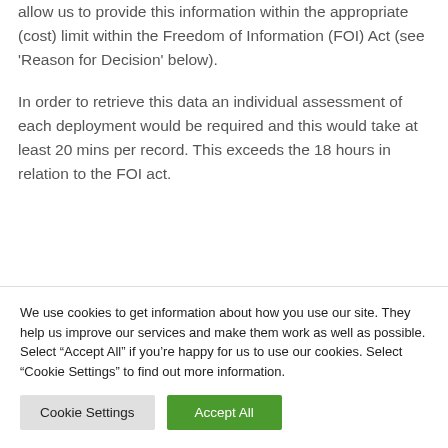Our data are not organised in such a way as to allow us to provide this information within the appropriate (cost) limit within the Freedom of Information (FOI) Act (see ‘Reason for Decision’ below).
In order to retrieve this data an individual assessment of each deployment would be required and this would take at least 20 mins per record. This exceeds the 18 hours in relation to the FOI act.
We use cookies to get information about how you use our site. They help us improve our services and make them work as well as possible. Select “Accept All” if you’re happy for us to use our cookies. Select “Cookie Settings” to find out more information.
Cookie Settings | Accept All